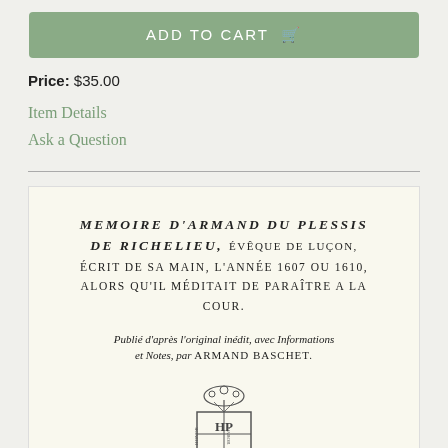[Figure (other): Green 'ADD TO CART' button with shopping cart icon]
Price: $35.00
Item Details
Ask a Question
[Figure (photo): Scanned page of a book title page: MEMOIRE D'ARMAND DU PLESSIS DE RICHELIEU, évêque de Luçon, écrit de sa main, l'année 1607 ou 1610, alors qu'il méditait de paraître a la Cour. Publié d'après l'original inédit, avec Informations et Notes, par Armand Baschet. With a publisher's crest at the bottom.]